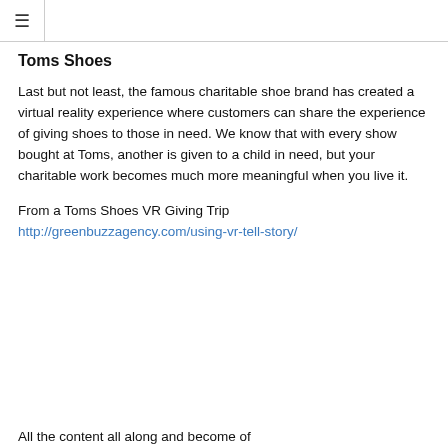≡
Toms Shoes
Last but not least, the famous charitable shoe brand has created a virtual reality experience where customers can share the experience of giving shoes to those in need. We know that with every show bought at Toms, another is given to a child in need, but your charitable work becomes much more meaningful when you live it.
From a Toms Shoes VR Giving Trip http://greenbuzzagency.com/using-vr-tell-story/
All the content all along and become of